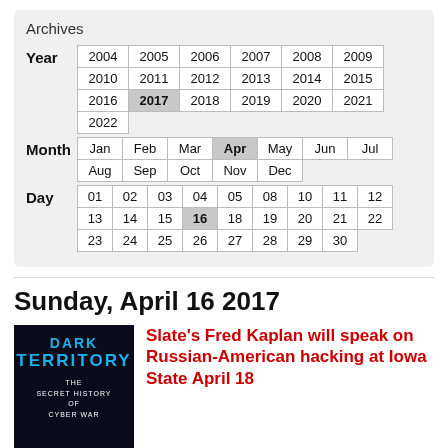Archives
| Year |
| --- |
| 2004 | 2005 | 2006 | 2007 | 2008 | 2009 | 2010 | 2011 |
| 2012 | 2013 | 2014 | 2015 | 2016 | 2017 (selected) | 2018 | 2019 |
| 2020 | 2021 | 2022 |
| Month |
| --- |
| Jan | Feb | Mar | Apr (selected) | May | Jun | Jul | Aug | Sep | Oct |
| Nov | Dec |
| Day |
| --- |
| 01 | 02 | 03 | 04 | 05 | 08 | 10 | 11 | 12 | 13 | 14 | 15 | 16 (selected) |
| 18 | 19 | 20 | 21 | 22 | 23 | 24 | 25 | 26 | 27 | 28 | 29 | 30 |
Sunday, April 16 2017
[Figure (photo): Book cover: Dark Territory - The Secret History of Cyber War]
Slate's Fred Kaplan will speak on Russian-American hacking at Iowa State April 18